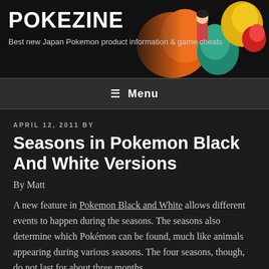POKEZINE
Best new Japan Pokemon product information & game cheats
[Figure (illustration): Colorful Pokemon characters including Charizard, Ampharos, and others in the header banner background]
≡ Menu
APRIL 12, 2011 BY
Seasons in Pokemon Black And White Versions
By Matt
A new feature in Pokemon Black and White allows different events to happen during the seasons. The seasons also determine which Pokémon can be found, much like animals appearing during various seasons. The four seasons, though, do not last for about three months